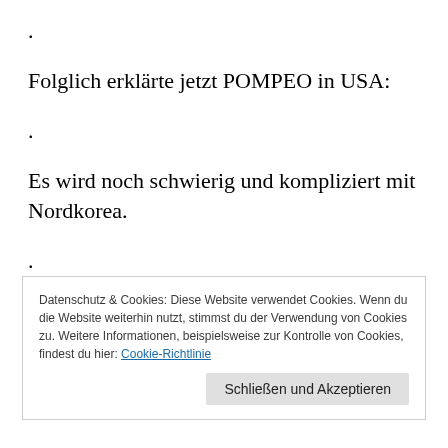.
Folglich erklärte jetzt POMPEO in USA:
.
Es wird noch schwierig und kompliziert mit Nordkorea.
.
Und es wird schon gerechnet, welche wirtschaftlichen und sonstigen Leistungen KIM von TRUMP erwartet.
Datenschutz & Cookies: Diese Website verwendet Cookies. Wenn du die Website weiterhin nutzt, stimmst du der Verwendung von Cookies zu. Weitere Informationen, beispielsweise zur Kontrolle von Cookies, findest du hier: Cookie-Richtlinie
Schließen und Akzeptieren
.